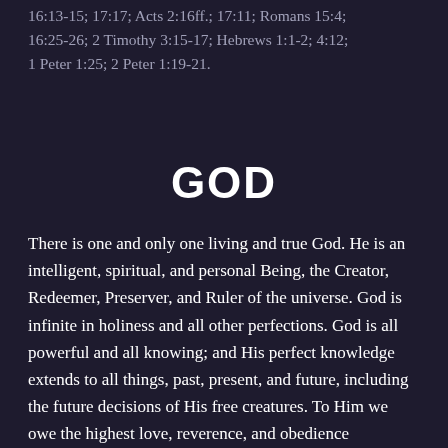16:13-15; 17:17; Acts 2:16ff.; 17:11; Romans 15:4; 16:25-26; 2 Timothy 3:15-17; Hebrews 1:1-2; 4:12; 1 Peter 1:25; 2 Peter 1:19-21.
GOD
There is one and only one living and true God. He is an intelligent, spiritual, and personal Being, the Creator, Redeemer, Preserver, and Ruler of the universe. God is infinite in holiness and all other perfections. God is all powerful and all knowing; and His perfect knowledge extends to all things, past, present, and future, including the future decisions of His free creatures. To Him we owe the highest love, reverence, and obedience